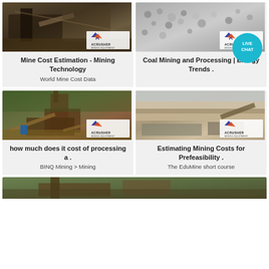[Figure (photo): Mining equipment/crusher machinery at a mine site with ACrusher Mining Equipment logo badge]
Mine Cost Estimation - Mining Technology
World Mine Cost Data
[Figure (photo): Aggregate/gravel stockpile at a coal mining site with ACrusher Mining Equipment logo badge and Live Chat bubble]
Coal Mining and Processing | Energy Trends .
[Figure (photo): Large industrial processing plant with tower structure on a dirt road, lush green hills behind, ACrusher Mining Equipment logo]
how much does it cost of processing a .
BINQ Mining > Mining
[Figure (photo): Open pit quarry/mining site with heavy equipment and conveyor, ACrusher Mining Equipment logo badge]
Estimating Mining Costs for Prefeasibility .
The EduMine short course
[Figure (photo): Partial view of mining machinery at bottom of page, cut off]